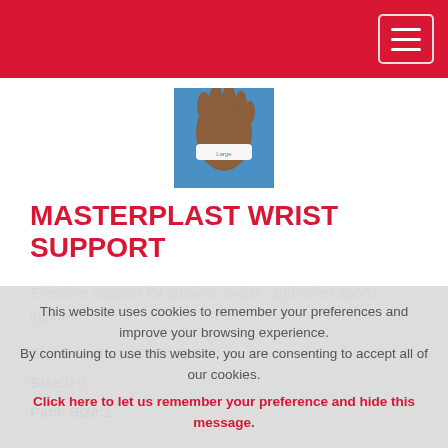[Figure (photo): Product image of a Masterplast wrist support being worn on a wrist, shown against a blue background with the word 'Large' visible.]
MASTERPLAST WRIST SUPPORT
Effective support for sprains, twists and other sports injuries.
Stock Code: 11SMP1006
Size: 0 0
Pack Size: 1
This website uses cookies to remember your preferences and improve your browsing experience. By continuing to use this website, you are consenting to accept all of our cookies. Click here to let us remember your preference and hide this message.